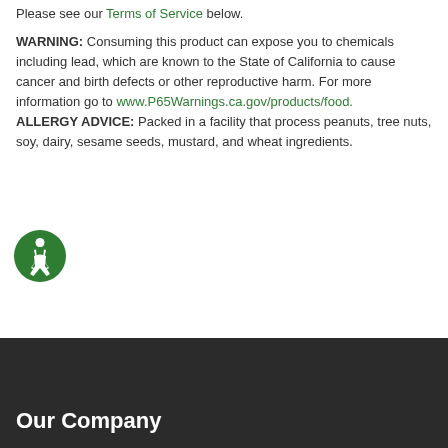Please see our Terms of Service below.
WARNING: Consuming this product can expose you to chemicals including lead, which are known to the State of California to cause cancer and birth defects or other reproductive harm. For more information go to www.P65Warnings.ca.gov/products/food. ALLERGY ADVICE: Packed in a facility that process peanuts, tree nuts, soy, dairy, sesame seeds, mustard, and wheat ingredients.
[Figure (illustration): Green circular accessibility/wheelchair icon]
Our Company